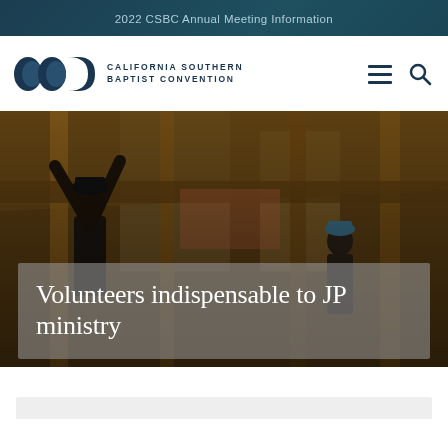2022 CSBC Annual Meeting Information
[Figure (logo): California Southern Baptist Convention logo with three overlapping circle/bracket shapes in dark navy blue, followed by text 'CALIFORNIA SOUTHERN BAPTIST CONVENTION']
[Figure (photo): Construction/volunteer scene showing a person working with wooden framing/studs inside a building under construction. Background shows wood beams, insulation, and a second person visible in the background.]
Volunteers indispensable to JP ministry